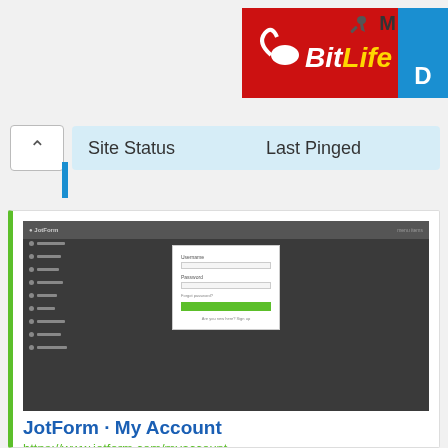[Figure (screenshot): BitLife advertisement banner with red background, yellow and white logo text, and a blue tab on the right side]
| Site Status | Last Pinged |
| --- | --- |
[Figure (screenshot): Screenshot of JotForm My Account login page showing username/password fields and green submit button]
JotForm · My Account
https://www.jotform.com/myaccount